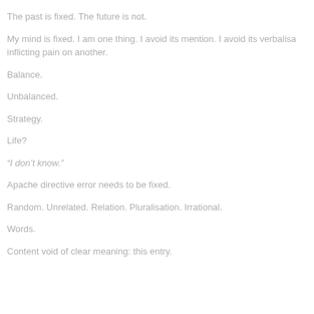The past is fixed. The future is not.
My mind is fixed. I am one thing. I avoid its mention. I avoid its verbalisa inflicting pain on another.
Balance.
Unbalanced.
Strategy.
Life?
“I don’t know.”
Apache directive error needs to be fixed.
Random. Unrelated. Relation. Pluralisation. Irrational.
Words.
Content void of clear meaning: this entry.